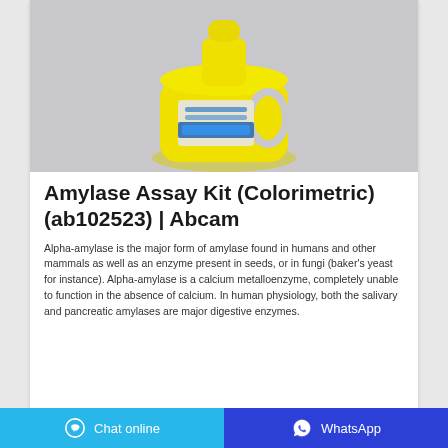[Figure (photo): A yellow plastic jug/bottle with a handle and a blue label, displayed against a light gray background. The bottle resembles a laundry detergent or chemical reagent container.]
Amylase Assay Kit (Colorimetric) (ab102523) | Abcam
Alpha-amylase is the major form of amylase found in humans and other mammals as well as an enzyme present in seeds, or in fungi (baker's yeast for instance). Alpha-amylase is a calcium metalloenzyme, completely unable to function in the absence of calcium. In human physiology, both the salivary and pancreatic amylases are major digestive enzymes.
Chat online   WhatsApp